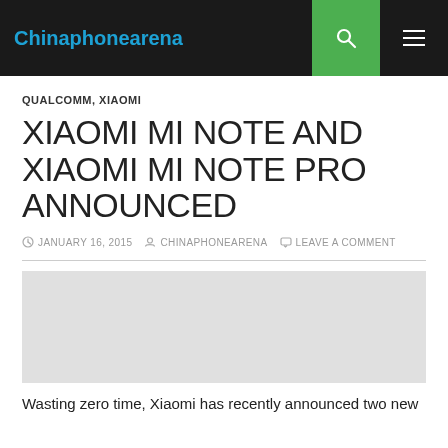Chinaphonearena
QUALCOMM, XIAOMI
XIAOMI MI NOTE AND XIAOMI MI NOTE PRO ANNOUNCED
JANUARY 16, 2015   CHINAPHONEARENA   LEAVE A COMMENT
[Figure (photo): Gray placeholder image area]
Wasting zero time, Xiaomi has recently announced two new